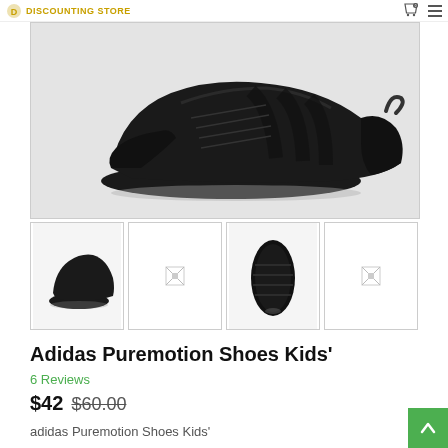DISCOUNTING STORE
[Figure (photo): Main product image: black Adidas Puremotion sneaker shown from the side on a light gray background]
[Figure (photo): Thumbnail 1: black Adidas Puremotion shoe side view]
[Figure (photo): Thumbnail 2: placeholder/broken image]
[Figure (photo): Thumbnail 3: black Adidas Puremotion shoe bottom/sole view]
[Figure (photo): Thumbnail 4: placeholder/broken image]
Adidas Puremotion Shoes Kids'
6 Reviews
$42 $60.00
adidas Puremotion Shoes Kids'